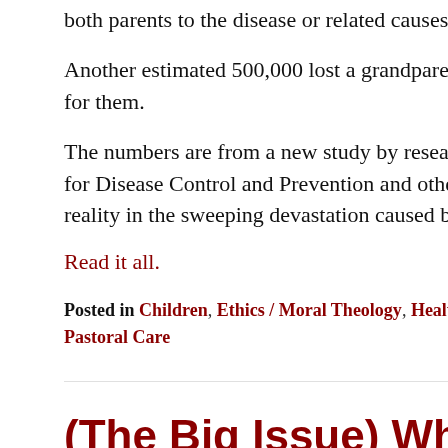both parents to the disease or related causes.
Another estimated 500,000 lost a grandparent or another relative who cared for them.
The numbers are from a new study by researchers from the U.S. Centers for Disease Control and Prevention and others that highlight another grim reality in the sweeping devastation caused by the ongoing pandemic.
Read it all.
Posted in Children, Ethics / Moral Theology, Health & Medicine, Marriage & Family, Pastoral Care
(The Big Issue) When the Archbishop of Canterbury sold The Big Issue
Posted on June 22, 2021 by Kendall Harmon
JW: I come from a family of both parents being alcoholic and my mother stopped drinking half a century ago and never went back. My father died